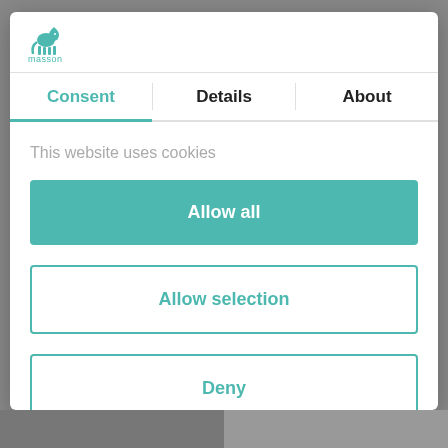[Figure (logo): Masson logo: teal horse icon with 'masson' text below]
Consent | Details | About
This website uses cookies
Allow all
Allow selection
Deny
Powered by Cookiebot by Usercentrics